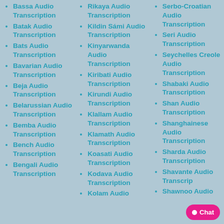Bassa Audio Transcription
Batak Audio Transcription
Bats Audio Transcription
Bavarian Audio Transcription
Beja Audio Transcription
Belarussian Audio Transcription
Bemba Audio Transcription
Bench Audio Transcription
Bengali Audio Transcription
Rikaya Audio Transcription
Kildin Sámi Audio Transcription
Kinyarwanda Audio Transcription
Kiribati Audio Transcription
Kirundi Audio Transcription
Klallam Audio Transcription
Klamath Audio Transcription
Koasati Audio Transcription
Kodava Audio Transcription
Kolam Audio
Serbo-Croatian Audio Transcription
Seri Audio Transcription
Seychelles Creole Audio Transcription
Shabaki Audio Transcription
Shan Audio Transcription
Shanghainese Audio Transcription
Sharda Audio Transcription
Shavante Audio Transcription
Shawnoo Audio